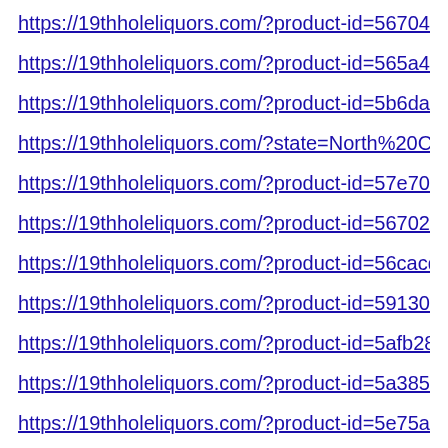https://19thholeliquors.com/?product-id=567041e47562…
https://19thholeliquors.com/?product-id=565a45ce6970…
https://19thholeliquors.com/?product-id=5b6dab928f587…
https://19thholeliquors.com/?state=North%20Carolina
https://19thholeliquors.com/?product-id=57e705bf69702…
https://19thholeliquors.com/?product-id=56702dda7562…
https://19thholeliquors.com/?product-id=56cacd2b7562…
https://19thholeliquors.com/?product-id=591300dc5b7c…
https://19thholeliquors.com/?product-id=5afb2867ef454…
https://19thholeliquors.com/?product-id=5a3852864ce3f…
https://19thholeliquors.com/?product-id=5e75a27a82ad7…